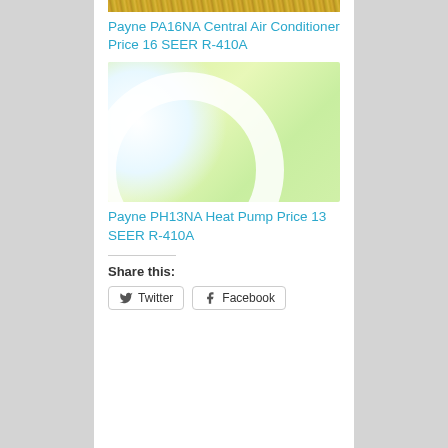[Figure (photo): Top of straw/hay texture image for Payne PA16NA Central Air Conditioner product]
Payne PA16NA Central Air Conditioner Price 16 SEER R-410A
[Figure (logo): Green gradient logo image with white curved arc shape for Payne PH13NA Heat Pump product]
Payne PH13NA Heat Pump Price 13 SEER R-410A
Share this:
Twitter
Facebook